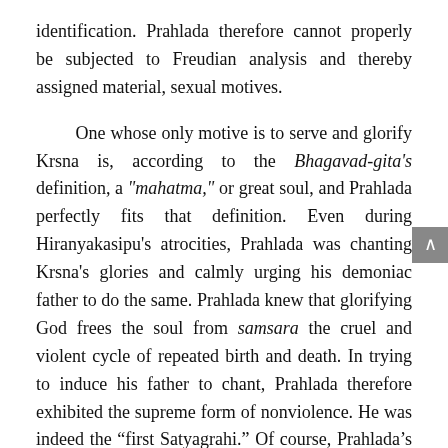identification. Prahlada therefore cannot properly be subjected to Freudian analysis and thereby assigned material, sexual motives.
One whose only motive is to serve and glorify Krsna is, according to the Bhagavad-gita's definition, a "mahatma," or great soul, and Prahlada perfectly fits that definition. Even during Hiranyakasipu's atrocities, Prahlada was chanting Krsna's glories and calmly urging his demoniac father to do the same. Prahlada knew that glorifying God frees the soul from samsara the cruel and violent cycle of repeated birth and death. In trying to induce his father to chant, Prahlada therefore exhibited the supreme form of nonviolence. He was indeed the “first Satyagrahi.” Of course, Prahlada's staunch faith in God only enraged his atheistic father, although that was not Prahlada's intention.
Not only was Prahlada not bound up in a murderous Oedipal struggle with his father, but he saw his father as he saw himself a pure soul in a temporary body.